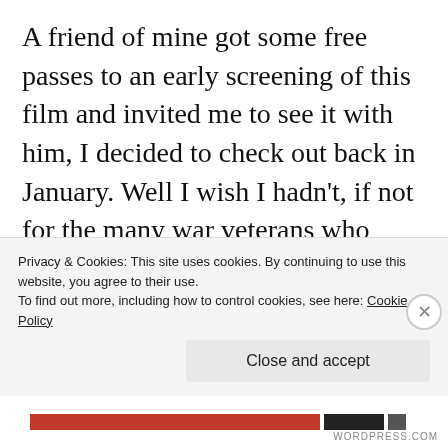A friend of mine got some free passes to an early screening of this film and invited me to see it with him, I decided to check out back in January. Well I wish I hadn't, if not for the many war veterans who were at the attendance and a free pass from my friend, I would've walked out half hour into the film. This was such a shame because The Tuskegee Airmen deserves a better film to tell their story. This
Privacy & Cookies: This site uses cookies. By continuing to use this website, you agree to their use.
To find out more, including how to control cookies, see here: Cookie Policy
Close and accept